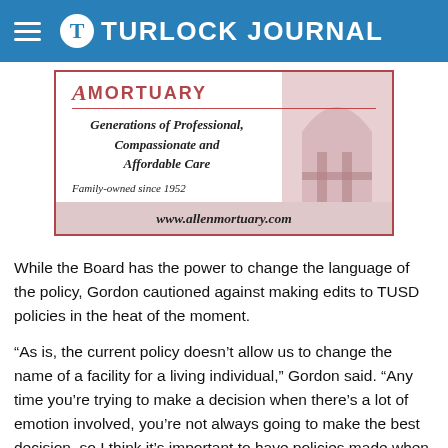Turlock Journal
[Figure (advertisement): Allen Mortuary advertisement with logo, tagline 'Generations of Professional, Compassionate and Affordable Care', 'Family-owned since 1952', and website www.allenmortuary.com]
While the Board has the power to change the language of the policy, Gordon cautioned against making edits to TUSD policies in the heat of the moment.
“As is, the current policy doesn’t allow us to change the name of a facility for a living individual,” Gordon said. “Any time you’re trying to make a decision when there’s a lot of emotion involved, you’re not always going to make the best decision, so I think it’s important to have policies made when those emotions are not in